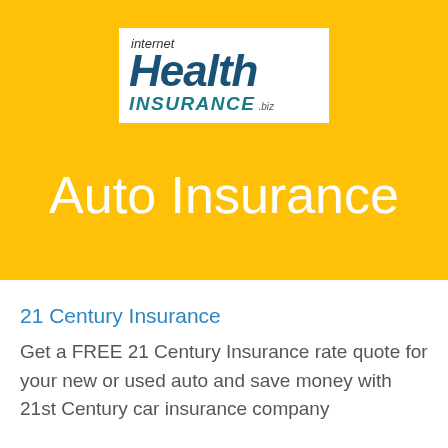[Figure (logo): Internet Health Insurance .biz logo — white box with 'internet' in small italic dark text, 'Health' in large bold italic navy blue, 'INSURANCE' in bold italic teal/cyan uppercase, '.biz' in small italic gray]
Auto Insurance
21 Century Insurance
Get a FREE 21 Century Insurance rate quote for your new or used auto and save money with 21st Century car insurance company